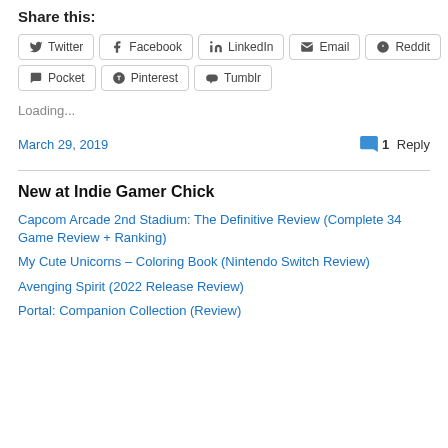Share this:
Twitter
Facebook
LinkedIn
Email
Reddit
Pocket
Pinterest
Tumblr
Loading...
March 29, 2019
1 Reply
New at Indie Gamer Chick
Capcom Arcade 2nd Stadium: The Definitive Review (Complete 34 Game Review + Ranking)
My Cute Unicorns – Coloring Book (Nintendo Switch Review)
Avenging Spirit (2022 Release Review)
Portal: Companion Collection (Review)